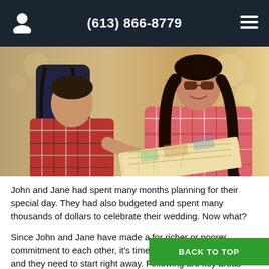(613) 866-8779
[Figure (photo): A couple (man and woman) wearing plaid shirts and carrying a backpack, looking at a map together as tourists]
John and Jane had spent many months planning for their special day. They had also budgeted and spent many thousands of dollars to celebrate their wedding. Now what?
Since John and Jane have made a for richer or poorer commitment to each other, it's time to do something about it; and they need to start right away. Following are key areas that will need their immediate attention.